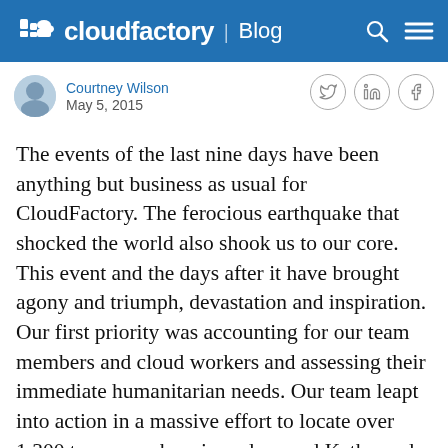cloudfactory | Blog
Courtney Wilson
May 5, 2015
The events of the last nine days have been anything but business as usual for CloudFactory. The ferocious earthquake that shocked the world also shook us to our core. This event and the days after it have brought agony and triumph, devastation and inspiration. Our first priority was accounting for our team members and cloud workers and assessing their immediate humanitarian needs. Our team leapt into action in a massive effort to locate over 1,300 team members in and around Kathmandu. We used